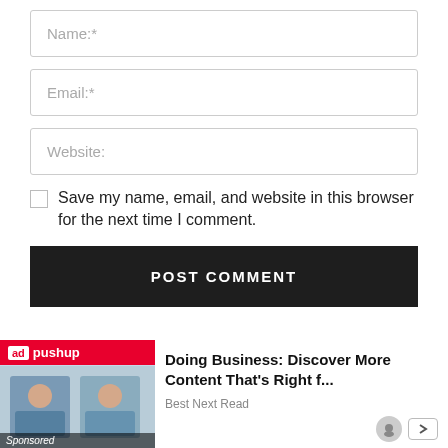Name:*
Email:*
Website:
Save my name, email, and website in this browser for the next time I comment.
POST COMMENT
FOLLOW US
[Figure (other): adpushup advertisement banner with image of business people and text: Doing Business: Discover More Content That's Right f... Best Next Read. Sponsored label.]